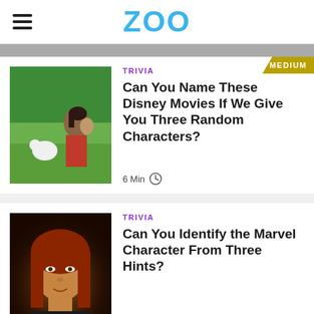ZOO
[Figure (photo): Disney animated scene with young Moana and a small animal]
TRIVIA
Can You Name These Disney Movies If We Give You Three Random Characters?
6 Min
[Figure (photo): Close-up of a young woman with red hair in dramatic lighting]
TRIVIA
Can You Identify the Marvel Character From Three Hints?
6 Min